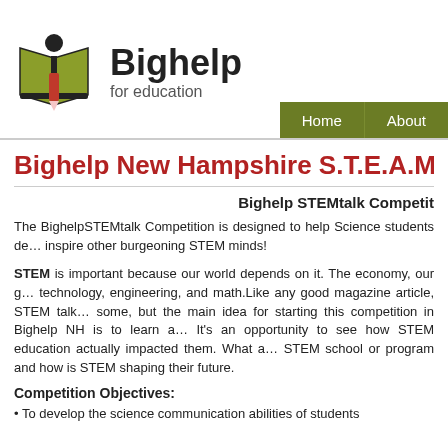[Figure (logo): Bighelp for education logo with open book and pencil figure]
Bighelp for education — Home | About
Bighelp New Hampshire S.T.E.A.M Even...
Bighelp STEMtalk Competit...
The BighelpSTEMtalk Competition is designed to help Science students de... inspire other burgeoning STEM minds!
STEM is important because our world depends on it. The economy, our g... technology, engineering, and math.Like any good magazine article, STEM talk... some, but the main idea for starting this competition in Bighelp NH is to learn a... It's an opportunity to see how STEM education actually impacted them. What a... STEM school or program and how is STEM shaping their future.
Competition Objectives:
• To develop the science communication abilities of students